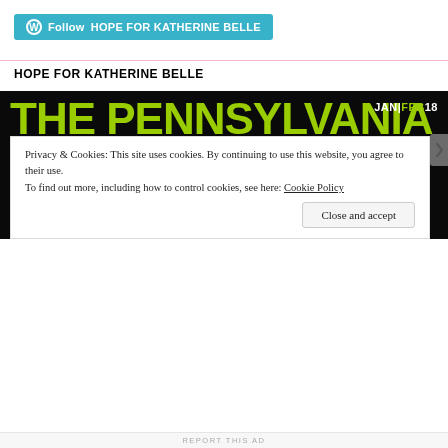[Figure (other): Cyan WordPress Follow button reading 'Follow HOPE FOR KATHERINE BELLE']
HOPE FOR KATHERINE BELLE
[Figure (illustration): Cover of The Pennsylvania Gazette magazine, JAN|FEB18, black background with large lime-green bold text reading THE PENNSYLVANIA GAZETTE]
Privacy & Cookies: This site uses cookies. By continuing to use this website, you agree to their use.
To find out more, including how to control cookies, see here: Cookie Policy
Close and accept
REPORT THIS AD